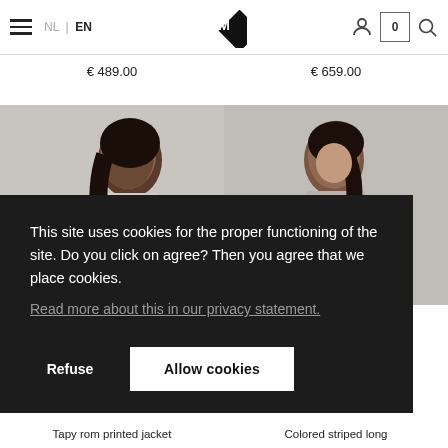NL | EN  [Logo M]  [User icon] 0 [Search icon]
€ 489.00
€ 659.00
[Figure (photo): Fashion model photo on left side, partial view]
[Figure (photo): Fashion model photo on right side, partial view]
This site uses cookies for the proper functioning of the site. Do you click on agree? Then you agree that we place cookies.
Read more about this in our privacy statement.
Refuse
Allow cookies
Tapy rom printed jacket
Colored striped long